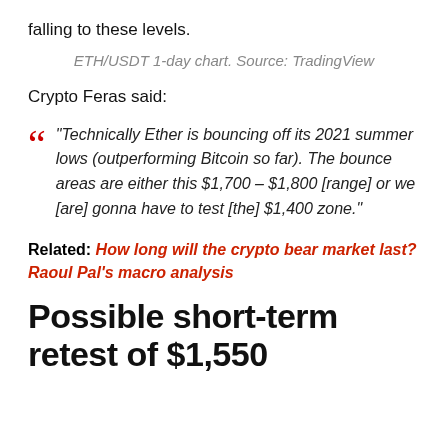falling to these levels.
ETH/USDT 1-day chart. Source: TradingView
Crypto Feras said:
“Technically Ether is bouncing off its 2021 summer lows (outperforming Bitcoin so far). The bounce areas are either this $1,700 – $1,800 [range] or we [are] gonna have to test [the] $1,400 zone.”
Related: How long will the crypto bear market last? Raoul Pal’s macro analysis
Possible short-term retest of $1,550